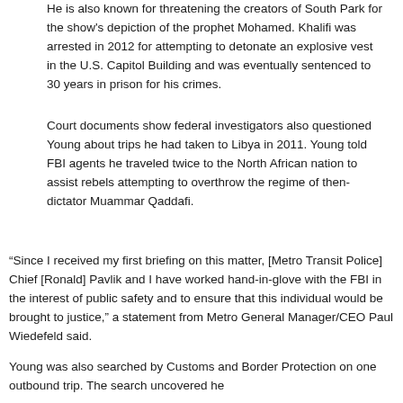He is also known for threatening the creators of South Park for the show's depiction of the prophet Mohamed. Khalifi was arrested in 2012 for attempting to detonate an explosive vest in the U.S. Capitol Building and was eventually sentenced to 30 years in prison for his crimes.
Court documents show federal investigators also questioned Young about trips he had taken to Libya in 2011. Young told FBI agents he traveled twice to the North African nation to assist rebels attempting to overthrow the regime of then-dictator Muammar Qaddafi.
“Since I received my first briefing on this matter, [Metro Transit Police] Chief [Ronald] Pavlik and I have worked hand-in-glove with the FBI in the interest of public safety and to ensure that this individual would be brought to justice,” a statement from Metro General Manager/CEO Paul Wiedefeld said.
Young was also searched by Customs and Border Protection on one outbound trip. The search uncovered he